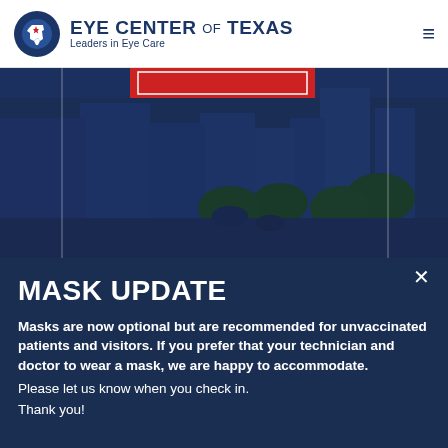[Figure (logo): Eye Center of Texas logo with Texas state outline icon, blue circle, text 'EYE CENTER OF TEXAS' and 'Leaders in Eye Care']
[Figure (photo): Dark navy blue tinted hero image showing a city street scene with people and buildings, with a red banner partially visible at the top]
MASK UPDATE
Masks are now optional but are recommended for unvaccinated patients and visitors. If you prefer that your technician and doctor to wear a mask, we are happy to accommodate.
Please let us know when you check in.
Thank you!